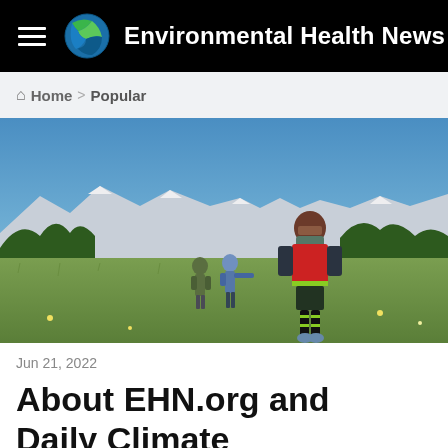Environmental Health News
Home > Popular
[Figure (photo): Child wearing a red vest and face covering stands in a green mountain meadow with two adults in the background and snow-capped mountains under a blue sky.]
Jun 21, 2022
About EHN.org and Daily Climate